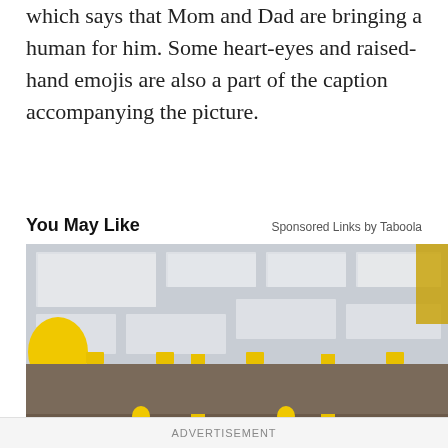which says that Mom and Dad are bringing a human for him. Some heart-eyes and raised-hand emojis are also a part of the caption accompanying the picture.
You May Like
Sponsored Links by Taboola
[Figure (photo): Interior of a furniture store showroom with rows of dark brown leather sofas and sectionals, yellow balloons tied to the furniture, yellow price tags, yellow support columns, and drop ceiling with fluorescent lighting panels.]
ADVERTISEMENT